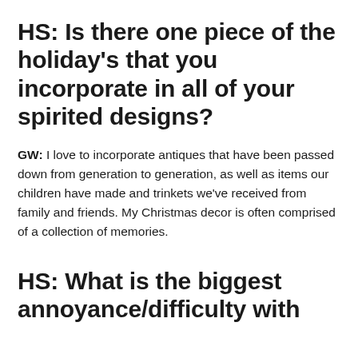HS: Is there one piece of the holiday's that you incorporate in all of your spirited designs?
GW: I love to incorporate antiques that have been passed down from generation to generation, as well as items our children have made and trinkets we've received from family and friends. My Christmas decor is often comprised of a collection of memories.
HS: What is the biggest annoyance/difficulty with